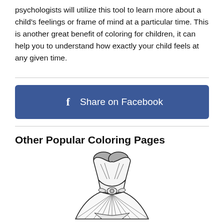psychologists will utilize this tool to learn more about a child's feelings or frame of mind at a particular time. This is another great benefit of coloring for children, it can help you to understand how exactly your child feels at any given time.
[Figure (illustration): Blue Facebook share button with 'f' icon and text 'Share on Facebook']
Other Popular Coloring Pages
[Figure (illustration): Black and white coloring page illustration of a wedding dress with heart-shaped bodice, cinched waist with bow/brooch detail, and full skirt with radiating pleats]